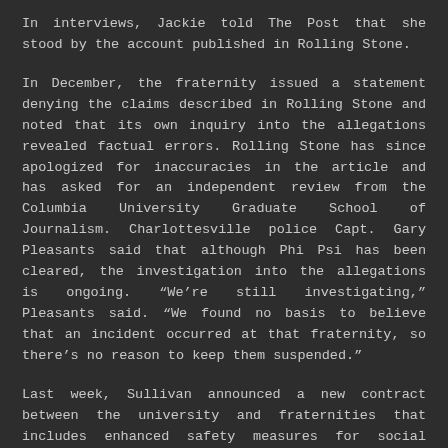In interviews, Jackie told The Post that she stood by the account published in Rolling Stone.
In December, the fraternity issued a statement denying the claims described in Rolling Stone and noted that its own inquiry into the allegations revealed factual errors. Rolling Stone has since apologized for inaccuracies in the article and has asked for an independent review from the Columbia University Graduate School of Journalism. Charlottesville police Capt. Gary Pleasants said that although Phi Psi has been cleared, the investigation into the allegations is ongoing. “We’re still investigating,” Pleasants said. “We found no basis to believe that an incident occurred at that fraternity, so there’s no reason to keep them suspended.”
Last week, Sullivan announced a new contract between the university and fraternities that includes enhanced safety measures for social activities designed to discourage binge drinking. The university said that Phi Psi was the first fraternity to sign the updated agreement, and fraternity officials said that Phi Psi members have participated in a sexual assault awareness